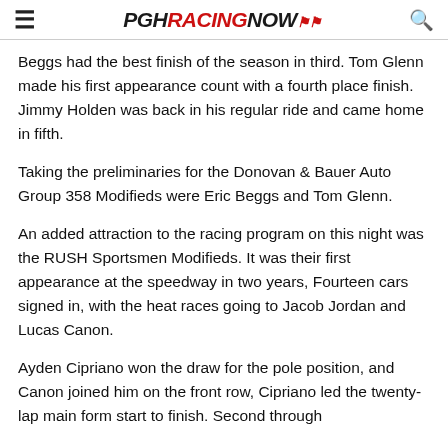PGH RACING NOW
Beggs had the best finish of the season in third. Tom Glenn made his first appearance count with a fourth place finish. Jimmy Holden was back in his regular ride and came home in fifth.
Taking the preliminaries for the Donovan & Bauer Auto Group 358 Modifieds were Eric Beggs and Tom Glenn.
An added attraction to the racing program on this night was the RUSH Sportsmen Modifieds. It was their first appearance at the speedway in two years, Fourteen cars signed in, with the heat races going to Jacob Jordan and Lucas Canon.
Ayden Cipriano won the draw for the pole position, and Canon joined him on the front row, Cipriano led the twenty-lap main form start to finish. Second through